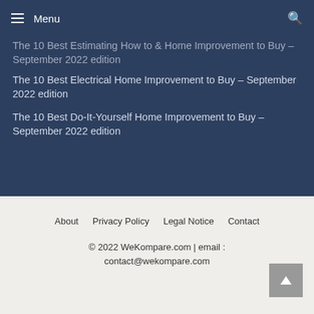≡ Menu
The 10 Best Estimating How to & Home Improvement to Buy – September 2022 edition
The 10 Best Electrical Home Improvement to Buy – September 2022 edition
The 10 Best Do-It-Yourself Home Improvement to Buy – September 2022 edition
About   Privacy Policy   Legal Notice   Contact   © 2022 WeKompare.com | email : contact@wekompare.com